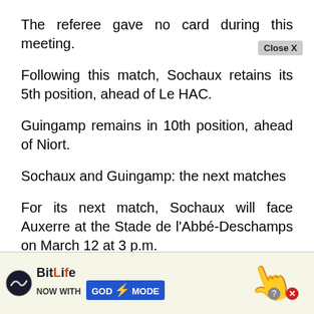The referee gave no card during this meeting.
Following this match, Sochaux retains its 5th position, ahead of Le HAC.
Guingamp remains in 10th position, ahead of Niort.
Sochaux and Guingamp: the next matches
For its next match, Sochaux will face Auxerre at the Stade de l'Abbé-Deschamps on March 12 at 3 p.m.
For its part, Guingamp will meet Quevilly RM the s… the … icipal Stadi…